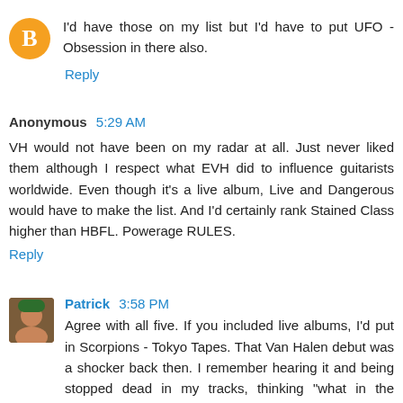I'd have those on my list but I'd have to put UFO - Obsession in there also.
Reply
Anonymous 5:29 AM
VH would not have been on my radar at all. Just never liked them although I respect what EVH did to influence guitarists worldwide. Even though it's a live album, Live and Dangerous would have to make the list. And I'd certainly rank Stained Class higher than HBFL. Powerage RULES.
Reply
Patrick 3:58 PM
Agree with all five. If you included live albums, I'd put in Scorpions - Tokyo Tapes. That Van Halen debut was a shocker back then. I remember hearing it and being stopped dead in my tracks, thinking "what in the world?". Simply the best album of the last part of the 70s, I agree